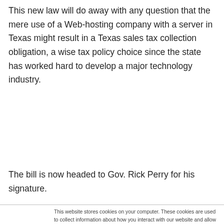This new law will do away with any question that the mere use of a Web-hosting company with a server in Texas might result in a Texas sales tax collection obligation, a wise tax policy choice since the state has worked hard to develop a major technology industry.
The bill is now headed to Gov. Rick Perry for his signature.
This website stores cookies on your computer. These cookies are used to collect information about how you interact with our website and allow us to remember you. We use this information in order to improve and customize your browsing experience and for analytics and metrics about our visitors both on this website and other media. To find out more about the cookies we use, see our Privacy Policy. California residents have the right to direct us not to sell their personal information to third parties by filing an Opt-Out Request: Do Not Sell My Personal Info.